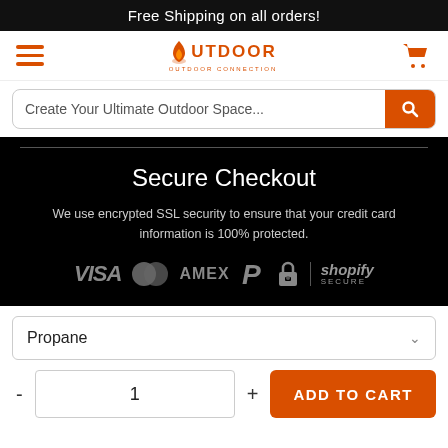Free Shipping on all orders!
[Figure (logo): Outdoor fire connection logo with hamburger menu and cart icon]
Create Your Ultimate Outdoor Space...
Secure Checkout
We use encrypted SSL security to ensure that your credit card information is 100% protected.
[Figure (infographic): Payment method icons: VISA, Mastercard, AMEX, PayPal, lock icon, Shopify Secure]
Propane
1
ADD TO CART